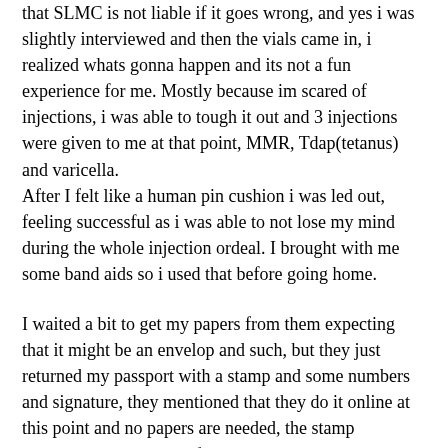that SLMC is not liable if it goes wrong, and yes i was slightly interviewed and then the vials came in, i realized whats gonna happen and its not a fun experience for me. Mostly because im scared of injections, i was able to tough it out and 3 injections were given to me at that point, MMR, Tdap(tetanus) and varicella. After I felt like a human pin cushion i was led out, feeling successful as i was able to not lose my mind during the whole injection ordeal. I brought with me some band aids so i used that before going home.
I waited a bit to get my papers from them expecting that it might be an envelop and such, but they just returned my passport with a stamp and some numbers and signature, they mentioned that they do it online at this point and no papers are needed, the stamp represents that im good for interview and should be able to go to the embassy without hiccups on the medical end.
For people who have something going on with their xrays they need to wait 2 month for the culture sample to check for